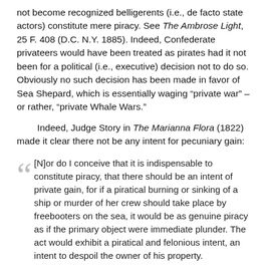not become recognized belligerents (i.e., de facto state actors) constitute mere piracy. See The Ambrose Light, 25 F. 408 (D.C. N.Y. 1885). Indeed, Confederate privateers would have been treated as pirates had it not been for a political (i.e., executive) decision not to do so. Obviously no such decision has been made in favor of Sea Shepard, which is essentially waging “private war” – or rather, “private Whale Wars.”
Indeed, Judge Story in The Marianna Flora (1822) made it clear there not be any intent for pecuniary gain:
[N]or do I conceive that it is indispensable to constitute piracy, that there should be an intent of private gain, for if a piratical burning or sinking of a ship or murder of her crew should take place by freebooters on the sea, it would be as genuine piracy as if the primary object were immediate plunder. The act would exhibit a piratical and felonious intent, an intent to despoil the owner of his property.